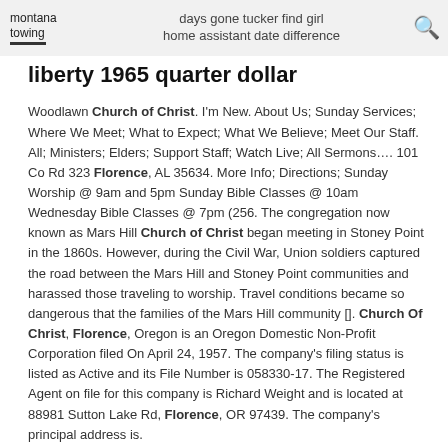montana towing | days gone tucker find girl home assistant date difference
liberty 1965 quarter dollar
Woodlawn Church of Christ. I'm New. About Us; Sunday Services; Where We Meet; What to Expect; What We Believe; Meet Our Staff. All; Ministers; Elders; Support Staff; Watch Live; All Sermons…. 101 Co Rd 323 Florence, AL 35634. More Info; Directions; Sunday Worship @ 9am and 5pm Sunday Bible Classes @ 10am Wednesday Bible Classes @ 7pm (256. The congregation now known as Mars Hill Church of Christ began meeting in Stoney Point in the 1860s. However, during the Civil War, Union soldiers captured the road between the Mars Hill and Stoney Point communities and harassed those traveling to worship. Travel conditions became so dangerous that the families of the Mars Hill community []. Church Of Christ, Florence, Oregon is an Oregon Domestic Non-Profit Corporation filed On April 24, 1957. The company's filing status is listed as Active and its File Number is 058330-17. The Registered Agent on file for this company is Richard Weight and is located at 88981 Sutton Lake Rd, Florence, OR 97439. The company's principal address is.
catelyn dies in childbirth fanfiction